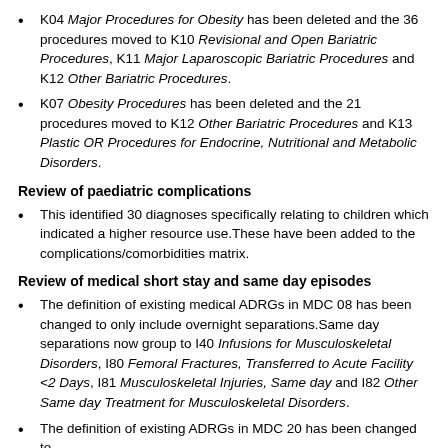K04 Major Procedures for Obesity has been deleted and the 36 procedures moved to K10 Revisional and Open Bariatric Procedures, K11 Major Laparoscopic Bariatric Procedures and K12 Other Bariatric Procedures.
K07 Obesity Procedures has been deleted and the 21 procedures moved to K12 Other Bariatric Procedures and K13 Plastic OR Procedures for Endocrine, Nutritional and Metabolic Disorders.
Review of paediatric complications
This identified 30 diagnoses specifically relating to children which indicated a higher resource use. These have been added to the complications/comorbidities matrix.
Review of medical short stay and same day episodes
The definition of existing medical ADRGs in MDC 08 has been changed to only include overnight separations. Same day separations now group to I40 Infusions for Musculoskeletal Disorders, I80 Femoral Fractures, Transferred to Acute Facility <2 Days, I81 Musculoskeletal Injuries, Same day and I82 Other Same day Treatment for Musculoskeletal Disorders.
The definition of existing ADRGs in MDC 20 has been changed to